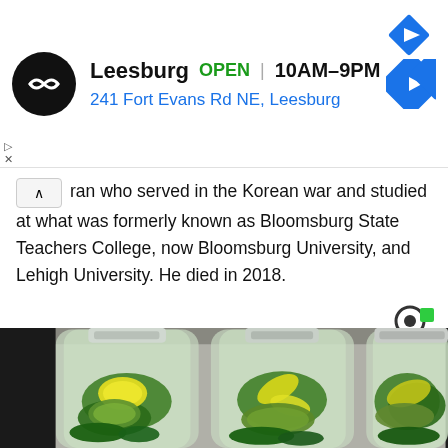[Figure (infographic): Advertisement banner for Leesburg store showing logo, OPEN status, hours 10AM-9PM, address 241 Fort Evans Rd NE Leesburg, and a navigation arrow icon]
ran who served in the Korean war and studied at what was formerly known as Bloomsburg State Teachers College, now Bloomsburg University, and Lehigh University. He died in 2018.
[Figure (photo): Three clear plastic water bottles filled with green infused water containing cucumber slices, lemon slices, and mint leaves, placed in front of a refrigerator]